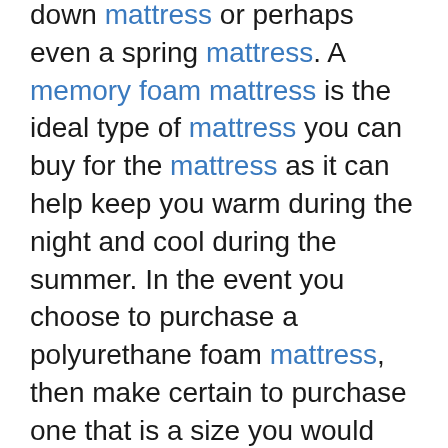down mattress or perhaps even a spring mattress. A memory foam mattress is the ideal type of mattress you can buy for the mattress as it can help keep you warm during the night and cool during the summer. In the event you choose to purchase a polyurethane foam mattress, then make certain to purchase one that is a size you would ordinarily sleep on.
There are many modest things you can increase your room to make it look nicer. Adding a fresh carpet is a great way to include extra seating into a room. A major thing that people tend to overlook with a room is mirroring. Mirrors help reflect light, which can make an area look larger. You may even add a chandelier into your bedroom to